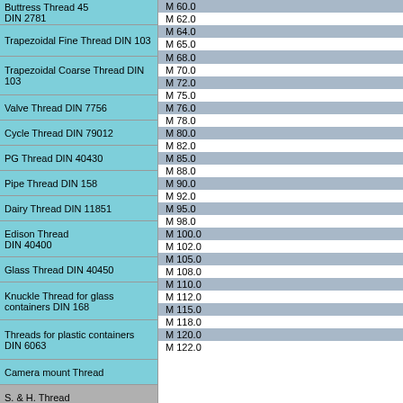| Thread Type | Size |
| --- | --- |
| Buttress Thread 45 DIN 2781 | M 60.0 |
|  | M 62.0 |
| Trapezoidal Fine Thread DIN 103 | M 64.0 |
|  | M 65.0 |
|  | M 68.0 |
| Trapezoidal Coarse Thread DIN 103 | M 70.0 |
|  | M 72.0 |
| Valve Thread DIN 7756 | M 75.0 |
|  | M 76.0 |
| Cycle Thread DIN 79012 | M 78.0 |
| PG Thread DIN 40430 | M 80.0 |
|  | M 82.0 |
| Pipe Thread DIN 158 | M 85.0 |
| Dairy Thread DIN 11851 | M 88.0 |
|  | M 90.0 |
| Edison Thread DIN 40400 | M 92.0 |
|  | M 95.0 |
| Glass Thread DIN 40450 | M 98.0 |
|  | M 100.0 |
| Knuckle Thread for glass containers DIN 168 | M 102.0 |
|  | M 105.0 |
| Threads for plastic containers DIN 6063 | M 108.0 |
|  | M 110.0 |
|  | M 112.0 |
| Camera mount Thread | M 115.0 |
|  | M 118.0 |
| S. & H. Thread | M 120.0 |
| Sewing-machine Thread | M 122.0 |